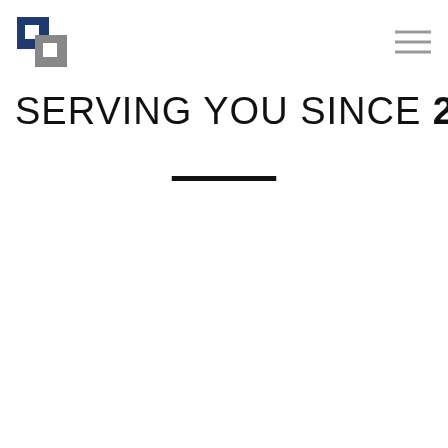[Figure (logo): Company logo: blue and gray letter M/square icon in top left corner]
[Figure (other): Hamburger menu icon (three horizontal gray lines) in top right corner]
SERVING YOU SINCE 2004
[Figure (other): Horizontal black decorative divider line centered below the title]